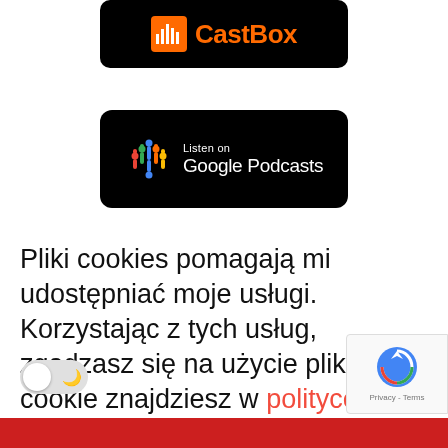[Figure (logo): CastBox podcast app button with orange icon on black background]
[Figure (logo): Listen on Google Podcasts button with colorful waveform icon on black background]
Pliki cookies pomagają mi udostępniać moje usługi. Korzystając z tych usług, zgadzasz się na użycie plików cookie znajdziesz w polityce prywatności.
[Figure (other): Dark/light mode toggle switch]
[Figure (other): reCAPTCHA Privacy-Terms badge]